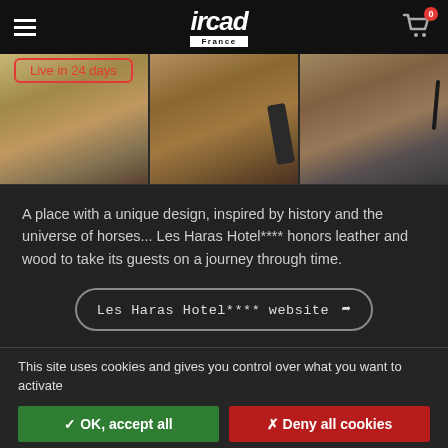ircad France — navigation header with cart (0 items)
Live in 24 days
[Figure (photo): Photo strip showing interior wooden elements of Les Haras Hotel, three segments side by side]
A place with a unique design, inspired by history and the universe of horses... Les Haras Hotel**** honors leather and wood to take its guests on a journey through time.
Les Haras Hotel**** website →
This site uses cookies and gives you control over what you want to activate
✓ OK, accept all
✗ Deny all cookies
Personalize
Privacy policy